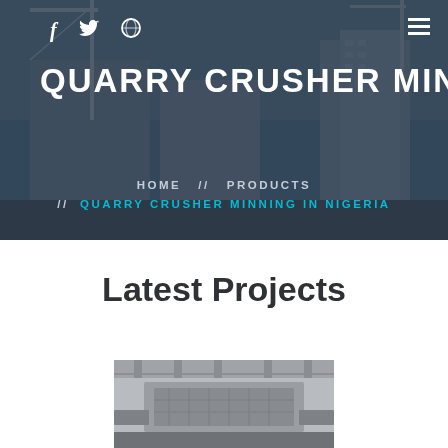[Figure (photo): Hero banner showing construction site with cranes and partially-built buildings against a blue sky, overlaid with dark blue tint]
QUARRY CRUSHER MINNING IN
HOME // PRODUCTS // QUARRY CRUSHER MINNING IN NIGERIA
Latest Projects
[Figure (photo): Industrial machinery/crusher equipment inside a facility]